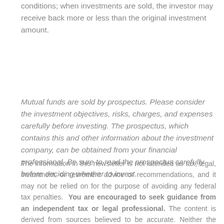conditions; when investments are sold, the investor may receive back more or less than the original investment amount.
Mutual funds are sold by prospectus. Please consider the investment objectives, risks, charges, and expenses carefully before investing. The prospectus, which contains this and other information about the investment company, can be obtained from your financial professional. Be sure to read the prospectus carefully before deciding whether to invest.
The information in this newsletter is not intended as tax, legal, investment, or retirement advice or recommendations, and it may not be relied on for the purpose of avoiding any federal tax penalties. You are encouraged to seek guidance from an independent tax or legal professional. The content is derived from sources believed to be accurate. Neither the information presented nor any opinion expressed constitutes a solicitation for the purchase